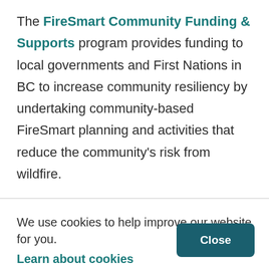The FireSmart Community Funding & Supports program provides funding to local governments and First Nations in BC to increase community resiliency by undertaking community-based FireSmart planning and activities that reduce the community's risk from wildfire.
Based on feedback from our members and successful
We use cookies to help improve our website for you.
Learn about cookies